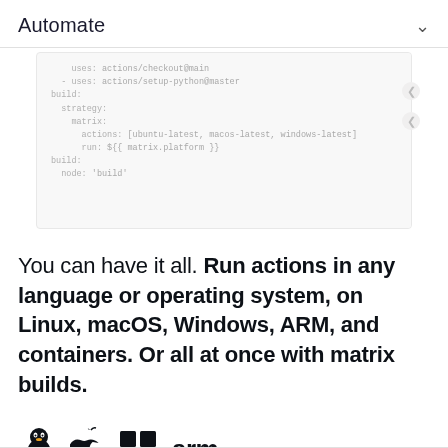Automate
[Figure (screenshot): Code editor screenshot showing YAML/workflow code in light gray monospace font, partially faded, with scroll indicators on the right side.]
You can have it all. Run actions in any language or operating system, on Linux, macOS, Windows, ARM, and containers. Or all at once with matrix builds.
[Figure (illustration): Four OS/platform logos in dark navy: Linux penguin (Tux), Apple logo, Windows logo (four squares), and 'arm' text logo.]